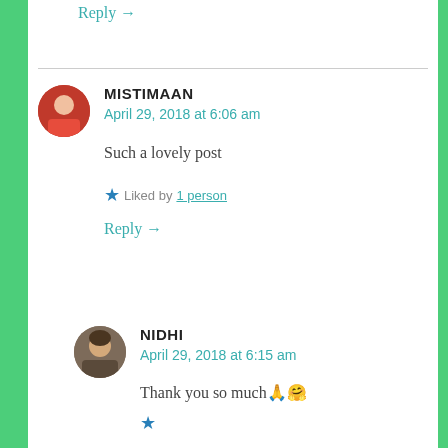Reply →
MISTIMAAN
April 29, 2018 at 6:06 am
Such a lovely post
★ Liked by 1 person
Reply →
NIDHI
April 29, 2018 at 6:15 am
Thank you so much🙏🤗
★ Liked by 1